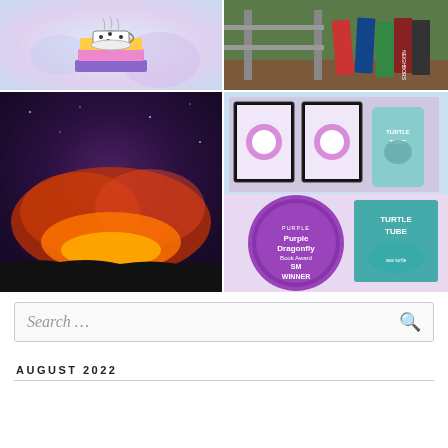[Figure (illustration): Illustration of a teacup sitting on top of a stack of colorful books on a light blue/purple watercolor background]
[Figure (photo): Photo of several books propped up outdoors near a fence, including a book titled NEIGHBORS]
[Figure (photo): Night photo of a volcanic eruption with glowing red/orange clouds against a dark purple sky]
[Figure (photo): Photo showing framed awards and a product called Turtle Tube, along with a Purple Dragonfly Book Award Winner badge and Turtle Tube book cover]
Search …
AUGUST 2022